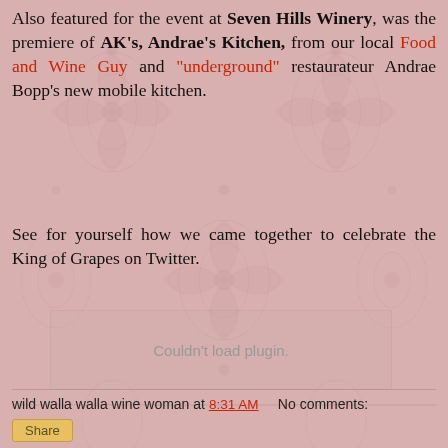Also featured for the event at Seven Hills Winery, was the premiere of AK's, Andrae's Kitchen, from our local Food and Wine Guy and "underground" restaurateur Andrae Bopp's new mobile kitchen.
See for yourself how we came together to celebrate the King of Grapes on Twitter.
[Figure (other): Embedded plugin area showing 'Couldn't load plugin.' message]
wild walla walla wine woman at 8:31 AM    No comments:
Share